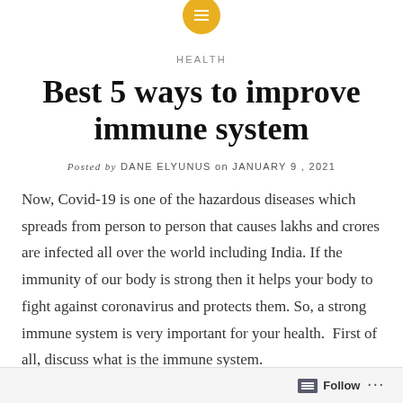[Icon: hamburger menu circle]
HEALTH
Best 5 ways to improve immune system
Posted by DANE ELYUNUS on JANUARY 9, 2021
Now, Covid-19 is one of the hazardous diseases which spreads from person to person that causes lakhs and crores are infected all over the world including India. If the immunity of our body is strong then it helps your body to fight against coronavirus and protects them. So, a strong immune system is very important for your health. First of all, discuss what is the immune system.
Follow ...